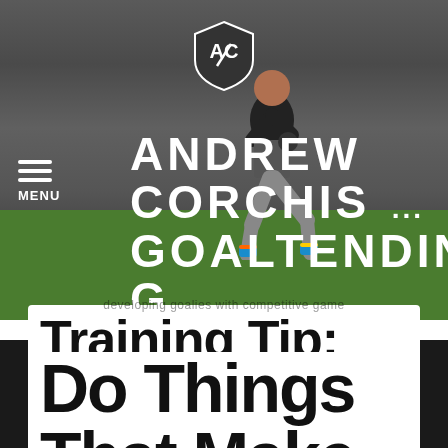[Figure (photo): A person performing a lunge exercise with a weight in a gym, on green turf flooring, with gym equipment visible in background. The image shows a fitness/sports training facility.]
ANDREW CORCHIS GOALTENDING
developing goalies with competitive game
Training Tip: Do Things That Make